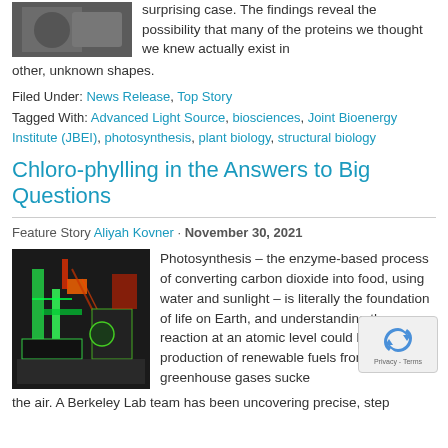[Figure (photo): Partial image at top left, appears to be a person or lab scene]
surprising case. The findings reveal the possibility that many of the proteins we thought we knew actually exist in other, unknown shapes.
Filed Under: News Release, Top Story
Tagged With: Advanced Light Source, biosciences, Joint Bioenergy Institute (JBEI), photosynthesis, plant biology, structural biology
Chloro-phylling in the Answers to Big Questions
Feature Story Aliyah Kovner · November 30, 2021
[Figure (photo): Laboratory equipment with green fluorescent lighting, appears to be photosynthesis research equipment]
Photosynthesis – the enzyme-based process of converting carbon dioxide into food, using water and sunlight – is literally the foundation of life on Earth, and understanding the reaction at an atomic level could lead to vast production of renewable fuels from greenhouse gases sucked from the air. A Berkeley Lab team has been uncovering precise, step-